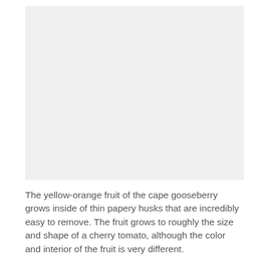[Figure (photo): Image placeholder area for cape gooseberry photo — light gray rectangle]
The yellow-orange fruit of the cape gooseberry grows inside of thin papery husks that are incredibly easy to remove. The fruit grows to roughly the size and shape of a cherry tomato, although the color and interior of the fruit is very different.